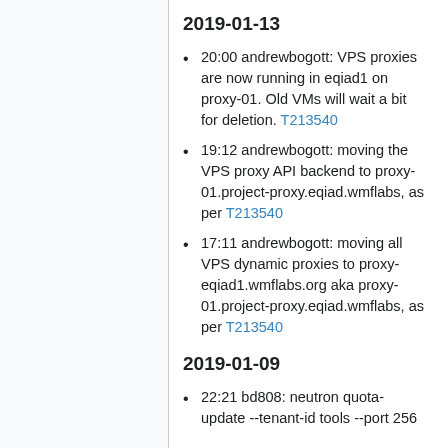2019-01-13
20:00 andrewbogott: VPS proxies are now running in eqiad1 on proxy-01. Old VMs will wait a bit for deletion. T213540
19:12 andrewbogott: moving the VPS proxy API backend to proxy-01.project-proxy.eqiad.wmflabs, as per T213540
17:11 andrewbogott: moving all VPS dynamic proxies to proxy-eqiad1.wmflabs.org aka proxy-01.project-proxy.eqiad.wmflabs, as per T213540
2019-01-09
22:21 bd808: neutron quota-update --tenant-id tools --port 256